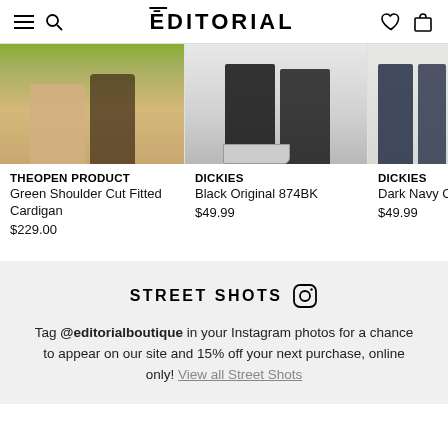ĒDITORIAL
[Figure (photo): Three product photos side by side: green cardigan on person, black Dickies pants with sneakers, dark navy pants on person]
THEOPEN PRODUCT
Green Shoulder Cut Fitted Cardigan
$229.00
DICKIES
Black Original 874BK
$49.99
DICKIES
Dark Navy C
$49.99
STREET SHOTS
Tag @editorialboutique in your Instagram photos for a chance to appear on our site and 15% off your next purchase, online only! View all Street Shots